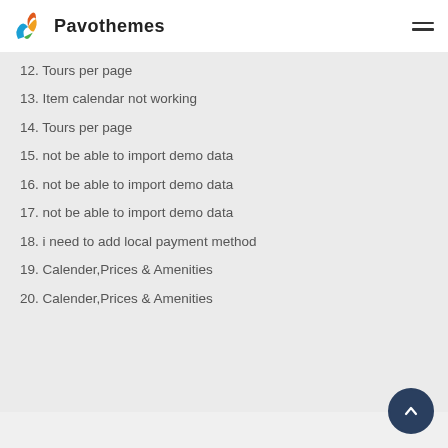Pavothemes
12. Tours per page
13. Item calendar not working
14. Tours per page
15. not be able to import demo data
16. not be able to import demo data
17. not be able to import demo data
18. i need to add local payment method
19. Calender,Prices & Amenities
20. Calender,Prices & Amenities